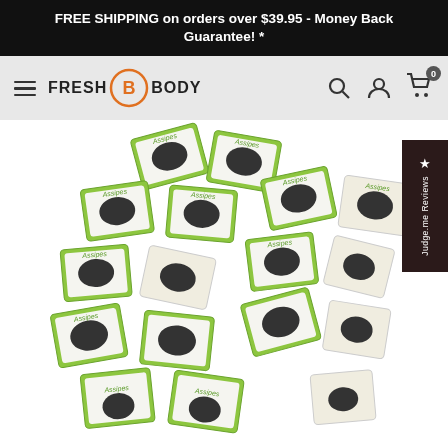FREE SHIPPING on orders over $39.95 - Money Back Guarantee! *
[Figure (logo): Fresh Body logo with FB icon in orange circle, hamburger menu, search, account, and cart icons with badge 0]
[Figure (photo): Pile of Assipes individual wet wipe packets in green and white packaging, scattered pile view from above]
[Figure (other): Judge.me Reviews sidebar button on right edge, dark brown background with star icon and vertical text]